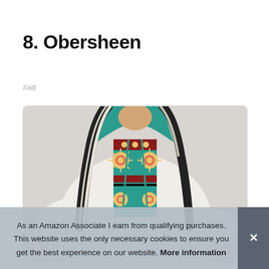8. Obersheen
#ad
[Figure (photo): Product photo of a woman wearing a Native American / Southwestern style patterned hoodie jacket with teal, red, and yellow geometric patterns and white sherpa trim.]
As an Amazon Associate I earn from qualifying purchases. This website uses the only necessary cookies to ensure you get the best experience on our website. More information